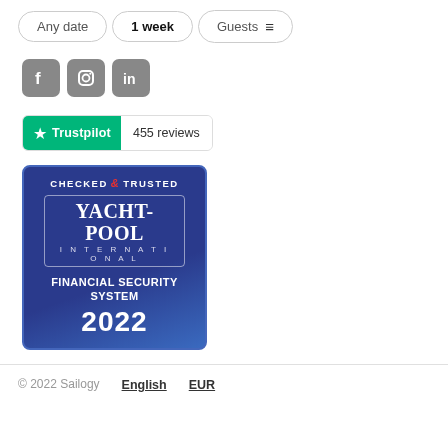[Figure (screenshot): Search bar with pills: 'Any date', '1 week', 'Guests', and a filter icon]
[Figure (logo): Social media icons: Facebook, Instagram, LinkedIn in grey square rounded boxes]
[Figure (logo): Trustpilot badge showing green star logo with 'Trustpilot' text and '455 reviews']
[Figure (logo): Yacht-Pool International Checked & Trusted Financial Security System 2022 badge, blue background]
© 2022 Sailogy  English  EUR